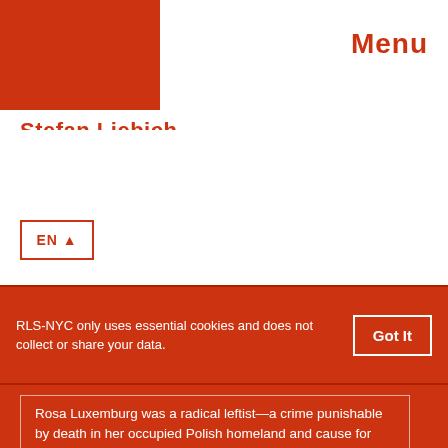Menu
Stefan Liebich
EN ▲
RLS-NYC only uses essential cookies and does not collect or share your data.
Got It
Rosa Luxemburg was a radical leftist—a crime punishable by death in her occupied Polish homeland and cause for constant persecution in her